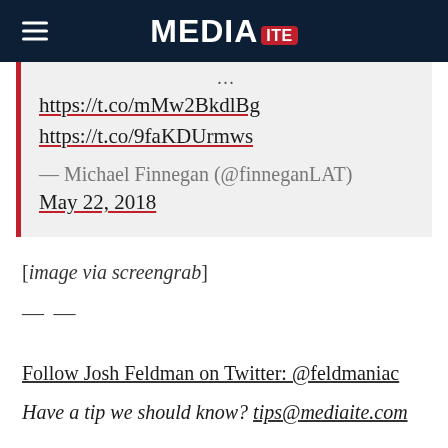MEDIAITE
...
https://t.co/mMw2BkdlBg
https://t.co/9faKDUrmws
— Michael Finnegan (@finneganLAT) May 22, 2018
[image via screengrab]
— —
Follow Josh Feldman on Twitter: @feldmaniac
Have a tip we should know? tips@mediaite.com